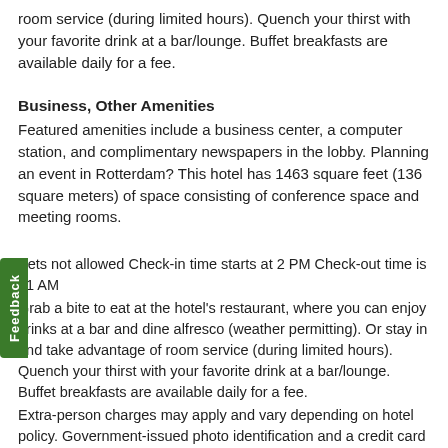room service (during limited hours). Quench your thirst with your favorite drink at a bar/lounge. Buffet breakfasts are available daily for a fee.
Business, Other Amenities
Featured amenities include a business center, a computer station, and complimentary newspapers in the lobby. Planning an event in Rotterdam? This hotel has 1463 square feet (136 square meters) of space consisting of conference space and meeting rooms.
Pets not allowed Check-in time starts at 2 PM Check-out time is 11 AM
Grab a bite to eat at the hotel's restaurant, where you can enjoy drinks at a bar and dine alfresco (weather permitting). Or stay in and take advantage of room service (during limited hours). Quench your thirst with your favorite drink at a bar/lounge. Buffet breakfasts are available daily for a fee.
Extra-person charges may apply and vary depending on hotel policy. Government-issued photo identification and a credit card or cash deposit are required at check-in for incidental charges.
Special requests are subject to availability upon check-in and may incur additional charges. Special requests cannot be guaranteed.
No onsite parking is available.
Special cancellation policies or charges may apply for group reservations (more than 8 rooms for the same hotel / stay dates).